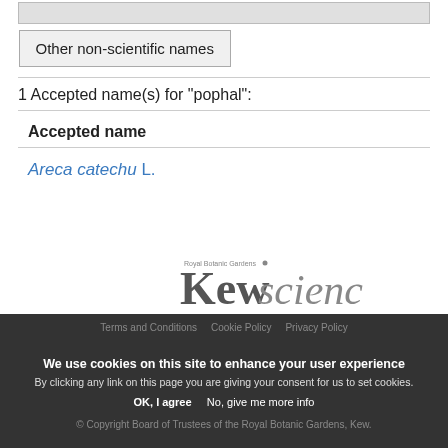| Other non-scientific names |
| --- |
1 Accepted name(s) for "pophal":
Accepted name
Areca catechu L.
[Figure (logo): Kew Science logo - Royal Botanic Gardens Kew science]
We use cookies on this site to enhance your user experience
By clicking any link on this page you are giving your consent for us to set cookies.
Terms and Conditions   Cookie Policy   Privacy Policy
© Copyright Board of Trustees of the Royal Botanic Gardens, Kew.
OK, I agree   No, give me more info